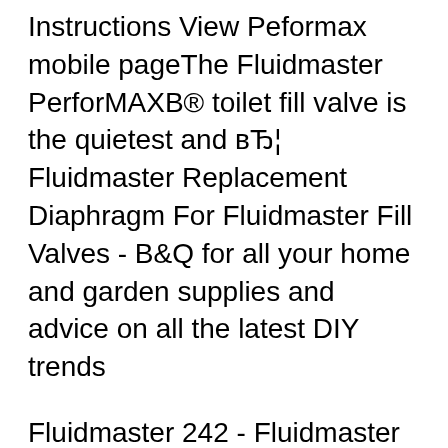Instructions View Peformax mobile pageThe Fluidmaster PerforMAXB® toilet fill valve is the quietest and вЂ¦ Fluidmaster Replacement Diaphragm For Fluidmaster Fill Valves - B&Q for all your home and garden supplies and advice on all the latest DIY trends
Fluidmaster 242 - Fluidmaster 242 Ballcock Replacement Seal - The Fluidmaster Replacement Seal for Model #400A Fill Valves is a great way to repair a Fluidmaster вЂ¦ home and garden supplies and This plastic fill valve is suitable for high or low water pressure and for use in a cistern. Fluidmaster - Tank Flush